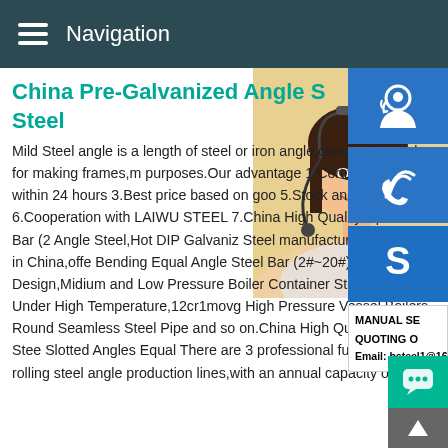Navigation
China Pre-Galvanized Angle Steel
Mild Steel angle is a length of steel or iron angle,commonly used for making frames,many purposes.Our advantage 1.Certificate ISO within 24 hours 3.Best price based on good 5.Stock and production 6.Cooperation with LAIWU STEEL 7.China High Quality Cpld Steel Bar (2 Angle Steel,Hot DIP Galvaniz Steel manufacturer / supplier in China,offe Bending Equal Angle Steel Bar (2#~20#) for Fence Design,Midium and Low Pressure Boiler Container Steel Pipe Tube Under High Temperature,12cr1movg High Pressure Vessel Boilers Round Seamless Steel Pipe and so on.China High Quality Alloy Steel Slotted Angles Equal There are 3 professional fully continuous rolling steel angle production lines,with an annual capacity of 2
[Figure (photo): Woman with headset, customer service representative photo on right side of page]
[Figure (infographic): Sidebar with three blue icon buttons (customer service, phone/call, Skype) and overlay text showing MANUAL SE..., QUOTING O..., Email: bsteel1@163.com]